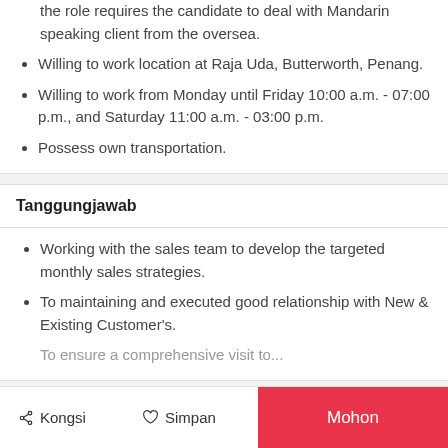the role requires the candidate to deal with Mandarin speaking client from the oversea.
Willing to work location at Raja Uda, Butterworth, Penang.
Willing to work from Monday until Friday 10:00 a.m. - 07:00 p.m., and Saturday 11:00 a.m. - 03:00 p.m.
Possess own transportation.
Tanggungjawab
Working with the sales team to develop the targeted monthly sales strategies.
To maintaining and executed good relationship with New & Existing Customer's.
Kongsi  Simpan  Mohon